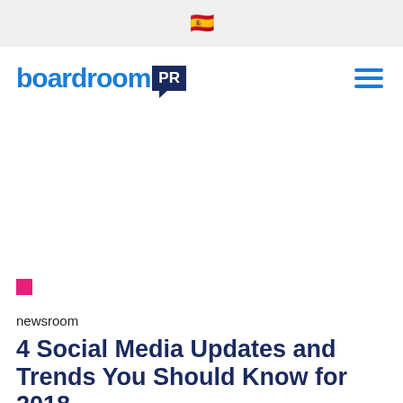🇪🇸
[Figure (logo): boardroomPR logo — 'boardroom' in blue bold text and 'PR' in white on a dark navy speech-bubble badge]
[Figure (other): Hamburger menu icon — three horizontal blue lines]
[Figure (other): Pink/magenta small square accent block]
newsroom
4 Social Media Updates and Trends You Should Know for 2018